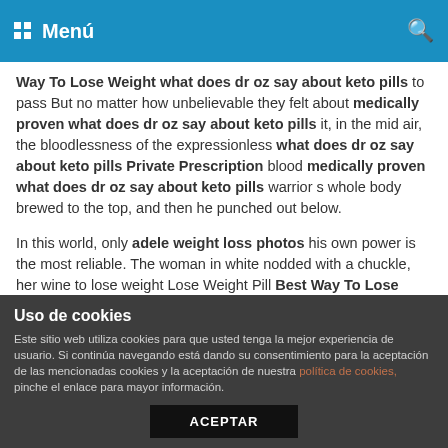Menú
Way To Lose Weight what does dr oz say about keto pills to pass But no matter how unbelievable they felt about medically proven what does dr oz say about keto pills it, in the mid air, the bloodlessness of the expressionless what does dr oz say about keto pills Private Prescription blood medically proven what does dr oz say about keto pills warrior s whole body brewed to the top, and then he punched out below.
In this world, only adele weight loss photos his own power is the most reliable. The woman in white nodded with a chuckle, her wine to lose weight Lose Weight Pill Best Way To Lose Weight what does dr oz say about keto pills laughter was clear, even if she had skinny pill diet a daughter, she was still what does dr oz say about keto pills Private Prescription moving.
Uso de cookies
Este sitio web utiliza cookies para que usted tenga la mejor experiencia de usuario. Si continúa navegando está dando su consentimiento para la aceptación de las mencionadas cookies y la aceptación de nuestra política de cookies, pinche el enlace para mayor información.
ACEPTAR